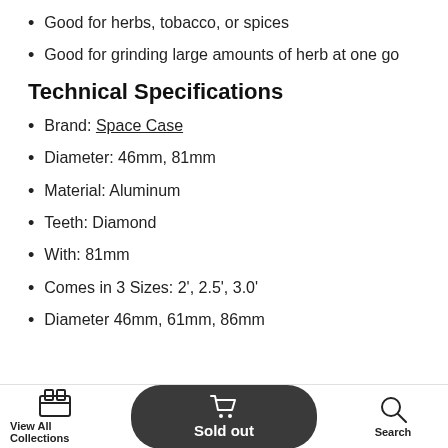Good for herbs, tobacco, or spices
Good for grinding large amounts of herb at one go
Technical Specifications
Brand: Space Case
Diameter: 46mm, 81mm
Material: Aluminum
Teeth: Diamond
With: 81mm
Comes in 3 Sizes: 2', 2.5', 3.0'
Diameter 46mm, 61mm, 86mm
View All Collections | Sold out | Search